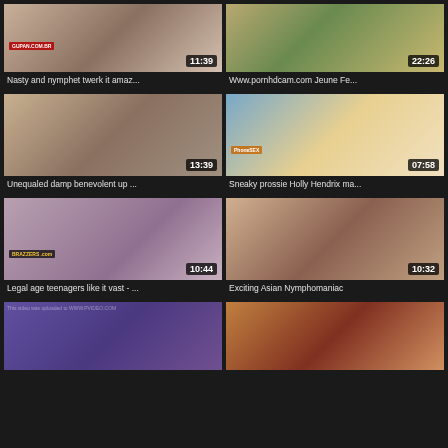[Figure (screenshot): Video thumbnail grid showing adult video titles with durations]
Nasty and nymphet twerk it amaz... 11:39
Www.pornhdcam.com Jeune Fe... 22:26
Unequaled damp benevolent up ... 13:39
Sneaky prossie Holly Hendrix ma... 07:58
Legal age teenagers like it vast - ... 10:44
Exciting Asian Nymphomaniac 10:32